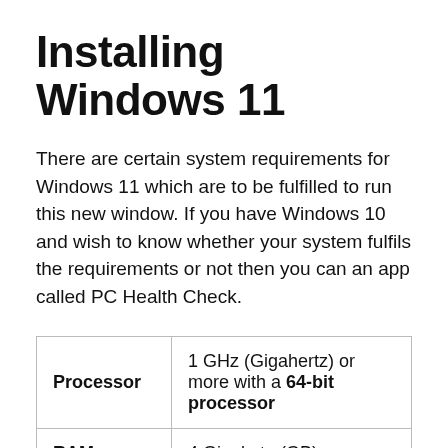Installing Windows 11
There are certain system requirements for Windows 11 which are to be fulfilled to run this new window. If you have Windows 10 and wish to know whether your system fulfils the requirements or not then you can an app called PC Health Check.
|  |  |
| --- | --- |
| Processor | 1 GHz (Gigahertz) or more with a 64-bit processor |
| RAM | 4 Gigabyte (GB) |
| System Firmware | Secure Boot, UEFI |